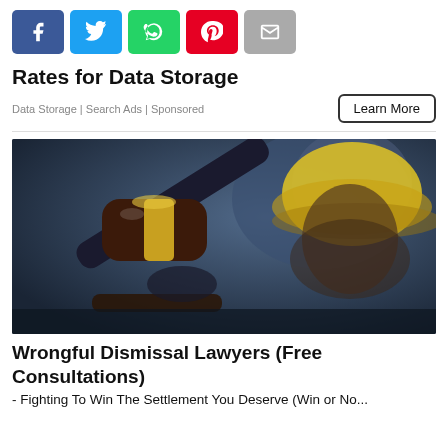[Figure (other): Social share buttons: Facebook (blue), Twitter (light blue), WhatsApp (green), Pinterest (red), Email (gray)]
Rates for Data Storage
Data Storage | Search Ads | Sponsored
[Figure (photo): Photo of a judge's gavel with a gold band on a dark surface, with a blurred construction worker wearing a yellow hard hat in the background]
Wrongful Dismissal Lawyers (Free Consultations)
- Fighting To Win The Settlement You Deserve (Win or No...